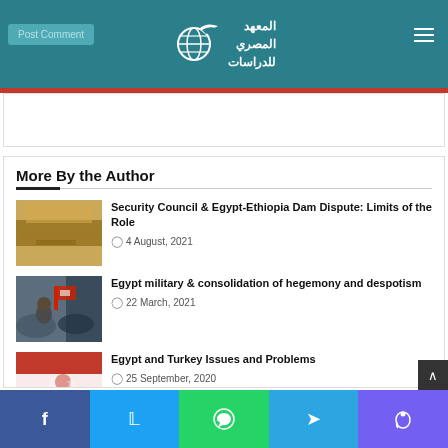المعهد المصري للدراسات — Post Comment
More By the Author
Security Council & Egypt-Ethiopia Dam Dispute: Limits of the Role — 4 August, 2021
Egypt military & consolidation of hegemony and despotism — 22 March, 2021
Egypt and Turkey Issues and Problems — 25 September, 2020